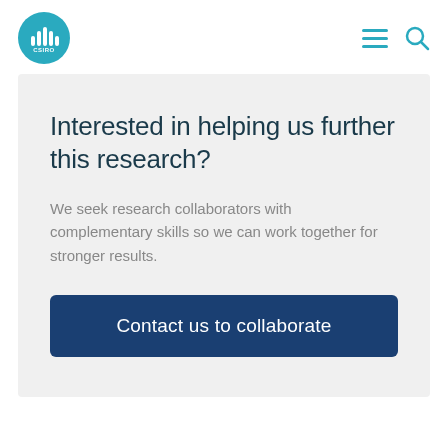[Figure (logo): CSIRO logo — circular teal badge with white sound wave bars and CSIRO text]
Interested in helping us further this research?
We seek research collaborators with complementary skills so we can work together for stronger results.
Contact us to collaborate